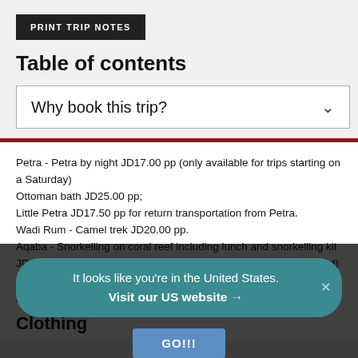PRINT TRIP NOTES
Table of contents
Why book this trip?
Petra - Petra by night JD17.00 pp (only available for trips starting on a Saturday)
Ottoman bath JD25.00 pp;
Little Petra JD17.50 pp for return transportation from Petra.
Wadi Rum - Camel trek JD20.00 pp.
Aqaba - Snorkelling on coral reef including lunch and snorkelling kit JD35.00 pp; Snorkelling from Boat (snorkelling equipment included) JD35.00 pp; Berenice Private Beach club - entrance fee JD10.00 pp.
Clothing
It looks like you're in the United States.
Visit our US website →